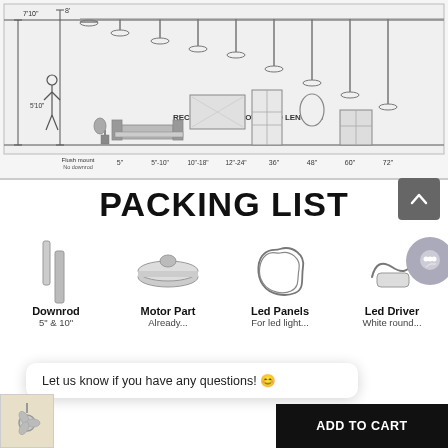[Figure (engineering-diagram): Ceiling fan downrod length recommendation diagram showing ceiling heights from flush mount to 72 inch downrod lengths, with a room scene (5'10" person, sofa, TV, door, mirror, cabinet) and label 'RECOMMENDED DOWNROD LENGTHS'. Heights labeled: 7'10" and 8'. Downrod options: Flush mount (No downrod), 5", 5"-10", 10"-18", 12"-24", 36", 48", 60", 72".]
PACKING LIST
[Figure (illustration): Packing list icons: Downrod (5" & 10"), Motor Part (Already...), Led Panels (For led light...), Led Driver (White round...)]
Let us know if you have any questions! 😊
ADD TO CART